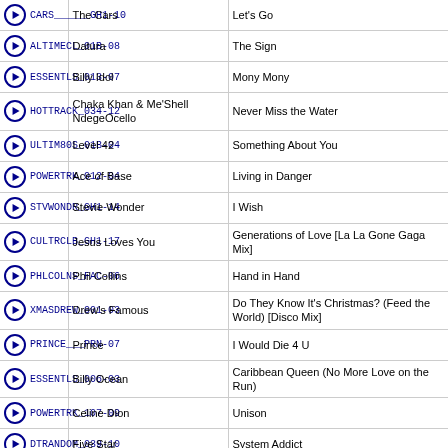| Play/ID | Artist | Song |
| --- | --- | --- |
| CARS______GH1-10 | The Cars | Let's Go |
| ALTIMECL_01B-08 | Datura | The Sign |
| ESSENTLS_013-07 | Billy Idol | Mony Mony |
| HOTTRACK_034-12 | Chaka Khan & Me'Shell NdegeOcello | Never Miss the Water |
| ULTIM80S_01B-04 | Level 42 | Something About You |
| POWERTRK_012-04 | Ace of Base | Living in Danger |
| STVWONDR_GH1-14 | Stevie Wonder | I Wish |
| CULTRCLB_GH1-17 | Jesus Loves You | Generations of Love [La La Gone Gaga Mix] |
| PHLCOLNS_FAC-06 | Phil Collins | Hand in Hand |
| XMASDREW_001-03 | Drew's Famous | Do They Know It's Christmas? (Feed the World) [Disco Mix] |
| PRINCE___PRN-07 | Prince | I Would Die 4 U |
| ESSENTLS_006-03 | Billy Ocean | Caribbean Queen (No More Love on the Run) |
| POWERTRK_107-09 | Celine Dion | Unison |
| DTRANDOM_039-10 | Five Star | System Addict |
| POWERTRK_106-14 | Johnny Kemp | Just Got Paid |
| CLASSALT_003-02 | The Stone Roses | Fool's Gold |
| POWERTRK_040-07 | Daniel Boone | Beautiful Sunday |
| POWERTRK_016-18 | Deniece Williams | Let's Hear It for the Boy |
| ELTONJON_GH3-07 | Elton John | Heartache All Over the World |
| POB01996_002-02 | No Mercy | Where Do You Go |